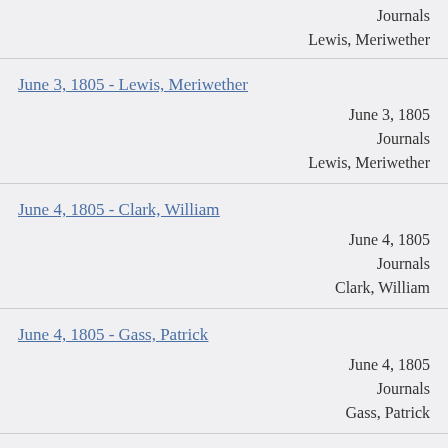Journals
Lewis, Meriwether
June 3, 1805 - Lewis, Meriwether
June 3, 1805
Journals
Lewis, Meriwether
June 4, 1805 - Clark, William
June 4, 1805
Journals
Clark, William
June 4, 1805 - Gass, Patrick
June 4, 1805
Journals
Gass, Patrick
June 19, 1805 - Ordway, John
June 19, 1805
Journals